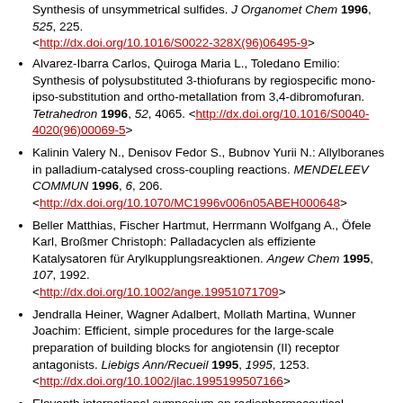Synthesis of unsymmetrical sulfides. J Organomet Chem 1996, 525, 225. <http://dx.doi.org/10.1016/S0022-328X(96)06495-9>
Alvarez-Ibarra Carlos, Quiroga Maria L., Toledano Emilio: Synthesis of polysubstituted 3-thiofurans by regiospecific mono-ipso-substitution and ortho-metallation from 3,4-dibromofuran. Tetrahedron 1996, 52, 4065. <http://dx.doi.org/10.1016/S0040-4020(96)00069-5>
Kalinin Valery N., Denisov Fedor S., Bubnov Yurii N.: Allylboranes in palladium-catalysed cross-coupling reactions. MENDELEEV COMMUN 1996, 6, 206. <http://dx.doi.org/10.1070/MC1996v006n05ABEH000648>
Beller Matthias, Fischer Hartmut, Herrmann Wolfgang A., Öfele Karl, Broßmer Christoph: Palladacyclen als effiziente Katalysatoren für Arylkupplungsreaktionen. Angew Chem 1995, 107, 1992. <http://dx.doi.org/10.1002/ange.19951071709>
Jendralla Heiner, Wagner Adalbert, Mollath Martina, Wunner Joachim: Efficient, simple procedures for the large-scale preparation of building blocks for angiotensin (II) receptor antagonists. Liebigs Ann/Recueil 1995, 1995, 1253. <http://dx.doi.org/10.1002/jlac.1995199507166>
Eleventh international symposium on radiopharmaceutical chemistry: Abstracts. J Lab Compds Radiopharm 1995, 37, 1. <http://dx.doi.org/10.1002/jlcr.2580370101>